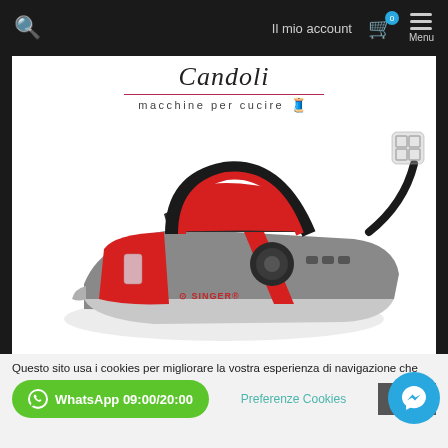Il mio account  Menu
[Figure (logo): Candoli macchine per cucire logo with cursive text and sewing machine icon]
[Figure (photo): Singer steam iron in black, red and grey colors on white background]
Questo sito usa i cookies per migliorare la vostra esperienza di navigazione che
WhatsApp 09:00/20:00
Preferenze Cookies
ACCE...